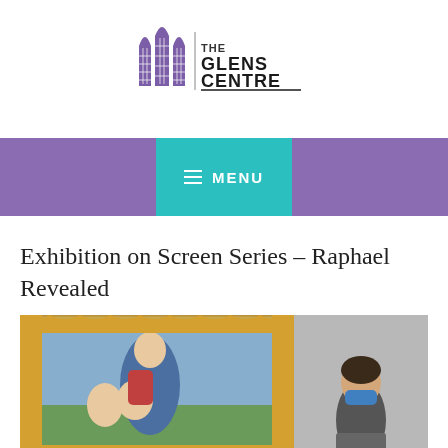[Figure (logo): The Glens Centre logo with purple stained-glass window motif and text 'THE GLENS CENTRE']
[Figure (screenshot): Purple navigation bar with teal MENU button containing hamburger icon]
Exhibition on Screen Series – Raphael Revealed
[Figure (photo): Composite image showing a Renaissance painting (Madonna and Child with Saint John) in an ornate golden frame on the left, and a masked museum visitor on the right]